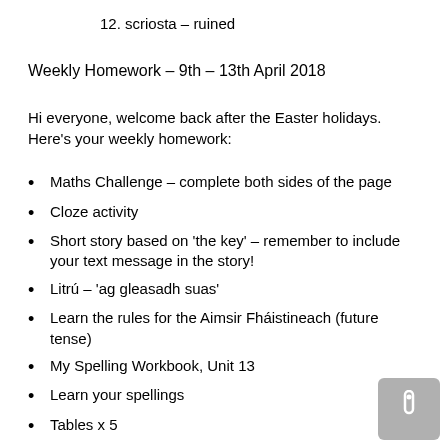12. scriosta – ruined
Weekly Homework – 9th – 13th April 2018
Hi everyone, welcome back after the Easter holidays. Here's your weekly homework:
Maths Challenge – complete both sides of the page
Cloze activity
Short story based on 'the key' – remember to include your text message in the story!
Litrú – 'ag gleasadh suas'
Learn the rules for the Aimsir Fháistineach (future tense)
My Spelling Workbook, Unit 13
Learn your spellings
Tables x 5
Tin whistle